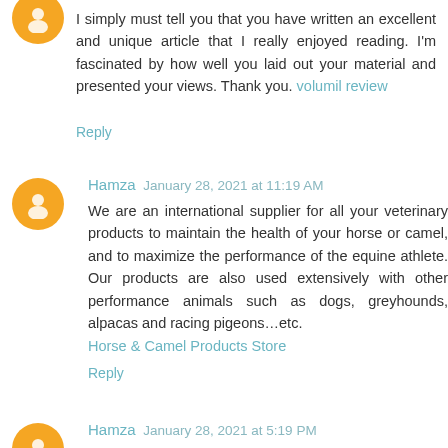I simply must tell you that you have written an excellent and unique article that I really enjoyed reading. I'm fascinated by how well you laid out your material and presented your views. Thank you. volumil review
Reply
Hamza  January 28, 2021 at 11:19 AM
We are an international supplier for all your veterinary products to maintain the health of your horse or camel, and to maximize the performance of the equine athlete. Our products are also used extensively with other performance animals such as dogs, greyhounds, alpacas and racing pigeons...etc. Horse & Camel Products Store
Reply
Hamza  January 28, 2021 at 5:19 PM
Gone through so many sites, has been in the search of